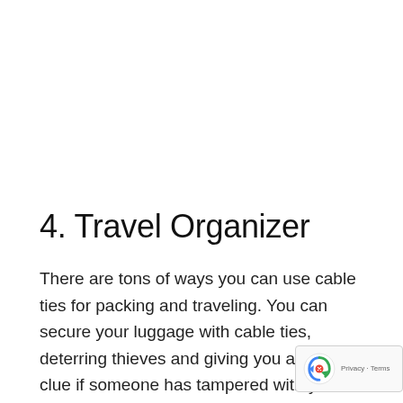4. Travel Organizer
There are tons of ways you can use cable ties for packing and traveling. You can secure your luggage with cable ties, deterring thieves and giving you a visual clue if someone has tampered with your bag.
You can attach a bag label of any kind to your bag, even just a bright object, to help you identify your